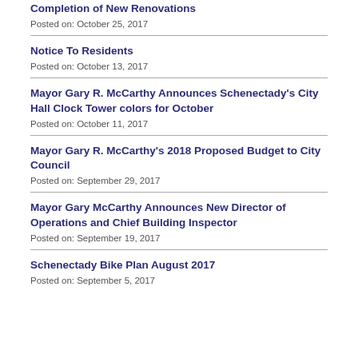Completion of New Renovations
Posted on: October 25, 2017
Notice To Residents
Posted on: October 13, 2017
Mayor Gary R. McCarthy Announces Schenectady's City Hall Clock Tower colors for October
Posted on: October 11, 2017
Mayor Gary R. McCarthy's 2018 Proposed Budget to City Council
Posted on: September 29, 2017
Mayor Gary McCarthy Announces New Director of Operations and Chief Building Inspector
Posted on: September 19, 2017
Schenectady Bike Plan August 2017
Posted on: September 5, 2017